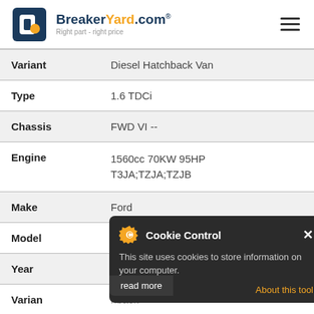BreakerYard.com — Right part - right price
| Field | Value |
| --- | --- |
| Variant | Diesel Hatchback Van |
| Type | 1.6 TDCi |
| Chassis | FWD VI -- |
| Engine | 1560cc 70KW 95HP T3JA;TZJA;TZJB |
| Make | Ford |
| Model | Fiesta |
| Year |  |
| Variant | Hatchback |
| Type | 1.0 |
| Chassis | FWD VI CB1 CCN |
[Figure (screenshot): Cookie Control popup overlay with orange gear icon, title 'Cookie Control', close X button, body text 'This site uses cookies to store information on your computer.', 'About this tool' link, and 'read more' button]